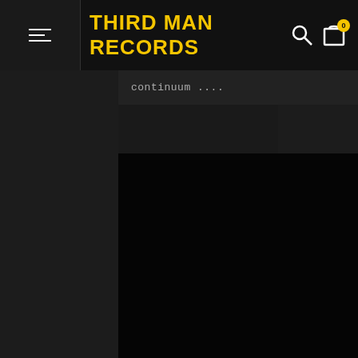THIRD MAN RECORDS
continuum ....
[Figure (photo): Large dark/black rectangular image area, nearly entirely black with no discernible content visible]